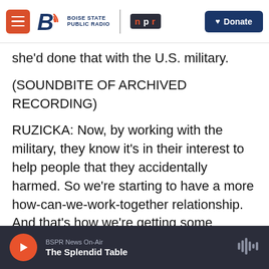Boise State Public Radio | NPR | Donate
she'd done that with the U.S. military.
(SOUNDBITE OF ARCHIVED RECORDING)
RUZICKA: Now, by working with the military, they know it's in their interest to help people that they accidentally harmed. So we're starting to have a more how-can-we-work-together relationship. And that's how we're getting some movement.
KING: She says gaining movement, which is true. But Jon Tracy is one captain in the entire U.S. Army. And by 2004, 2005, there were a lot of civilian casualties in Iraq.
BSPR News On-Air — The Splendid Table